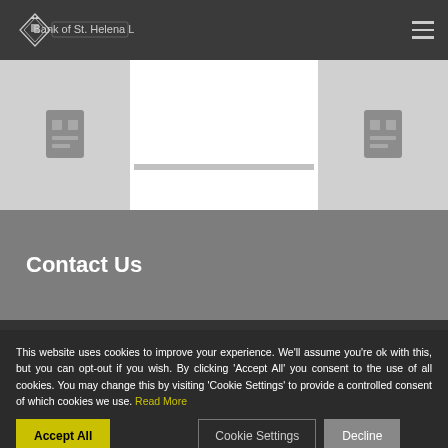Bank of St. Helena Ltd.
[Figure (photo): Hero image area with left and right gray panels and white center panel, showing partial decorative images and a horizontal bar element]
Contact Us
This website uses cookies to improve your experience. We'll assume you're ok with this, but you can opt-out if you wish. By clicking 'Accept All' you consent to the use of all cookies. You may change this by visiting 'Cookie Settings' to provide a controlled consent of which cookies we use. Read More
Accept All | Cookie Settings | Decline